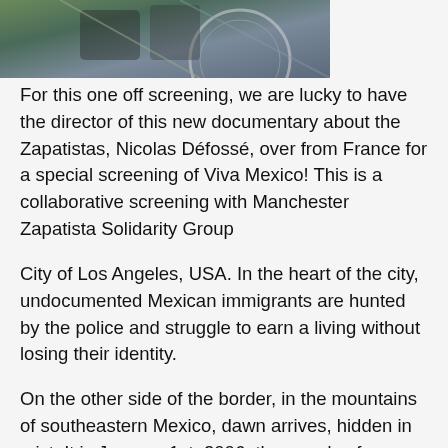[Figure (photo): A partial photo at the top of the page showing what appears to be people with a bicycle or similar vehicle, cropped at the bottom edge.]
For this one off screening, we are lucky to have the director of this new documentary about the Zapatistas, Nicolas Défossé, over from France for a special screening of Viva Mexico! This is a collaborative screening with Manchester Zapatista Solidarity Group
City of Los Angeles, USA. In the heart of the city, undocumented Mexican immigrants are hunted by the police and struggle to earn a living without losing their identity.
On the other side of the border, in the mountains of southeastern Mexico, dawn arrives, hidden in mist. It is January 1st, 2006; thousands of indigenous Zapatistas prepare to say farewell to their spokesman Subcomandante Marcos.